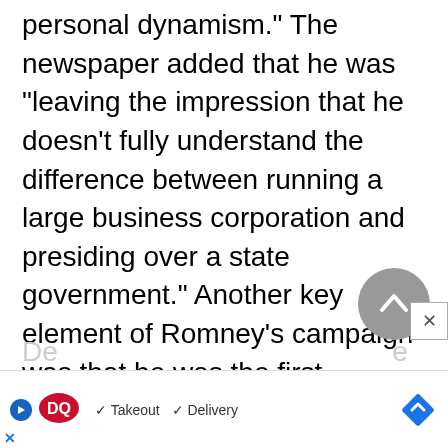personal dynamism." The newspaper added that he was "leaving the impression that he doesn't fully understand the difference between running a large business corporation and presiding over a state government." Another key element of Romney's campaign was that he was the first Republican gubernatorial candidate in Michigan who made an effort to attract the African-American vote. Traditionally in Michigan, the
[Figure (other): Dairy Queen advertisement banner with play button icon, DQ logo, checkmarks for Takeout and Delivery, and a blue navigation diamond icon. An X close button is also visible.]